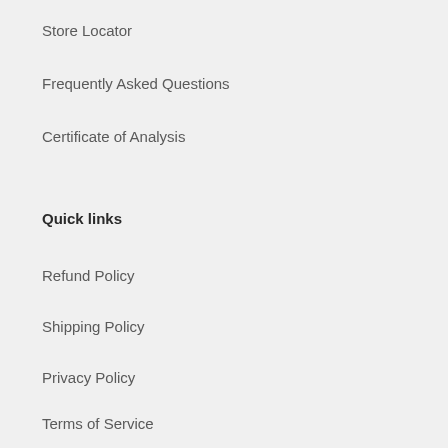Store Locator
Frequently Asked Questions
Certificate of Analysis
Quick links
Refund Policy
Shipping Policy
Privacy Policy
Terms of Service